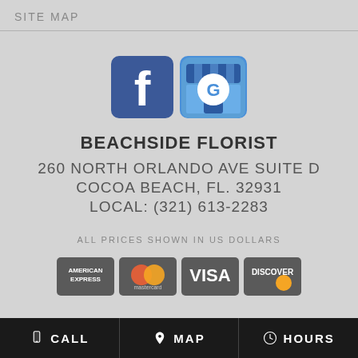SITE MAP
[Figure (logo): Facebook logo icon (blue square with white f) and Google My Business logo icon (blue storefront with G)]
BEACHSIDE FLORIST
260 NORTH ORLANDO AVE SUITE D
COCOA BEACH, FL. 32931
LOCAL: (321) 613-2283
ALL PRICES SHOWN IN US DOLLARS
[Figure (logo): Payment method icons: American Express, Mastercard, Visa, Discover]
CALL   MAP   HOURS